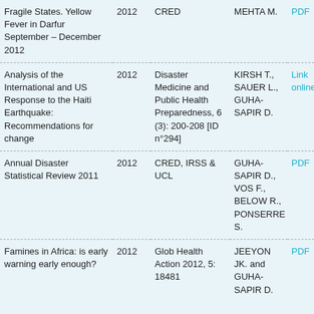| Title | Year | Publisher/Journal | Authors | Link |
| --- | --- | --- | --- | --- |
| Fragile States. Yellow Fever in Darfur September – December 2012 | 2012 | CRED | MEHTA M. | PDF |
| Analysis of the International and US Response to the Haiti Earthquake: Recommendations for change | 2012 | Disaster Medicine and Public Health Preparedness, 6 (3): 200-208 [ID n°294] | KIRSH T., SAUER L., GUHA-SAPIR D. | Link online |
| Annual Disaster Statistical Review 2011 | 2012 | CRED, IRSS & UCL | GUHA-SAPIR D., VOS F., BELOW R., PONSERRE S. | PDF |
| Famines in Africa: is early warning early enough? | 2012 | Glob Health Action 2012, 5: 18481 | JEEYON JK. and GUHA-SAPIR D. | PDF |